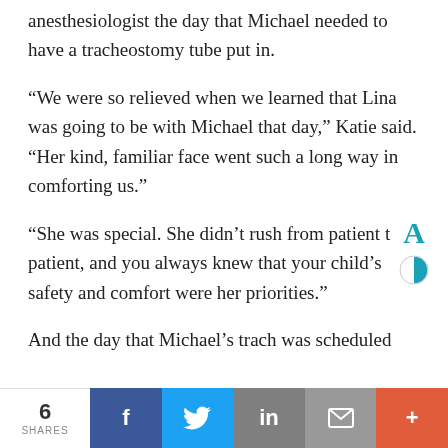anesthesiologist the day that Michael needed to have a tracheostomy tube put in.
“We were so relieved when we learned that Lina was going to be with Michael that day,” Katie said. “Her kind, familiar face went such a long way in comforting us.”
“She was special. She didn’t rush from patient to patient, and you always knew that your child’s safety and comfort were her priorities.”
And the day that Michael’s trach was scheduled
6 SHARES | Facebook | Twitter | LinkedIn | Email | More